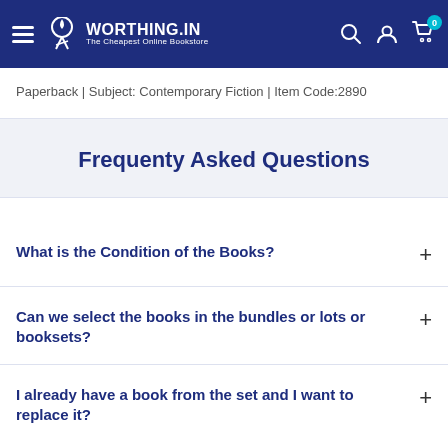WORTHING.IN — The Cheapest Online Bookstore
Paperback | Subject: Contemporary Fiction | Item Code:2890
Frequenty Asked Questions
What is the Condition of the Books?
Can we select the books in the bundles or lots or booksets?
I already have a book from the set and I want to replace it?